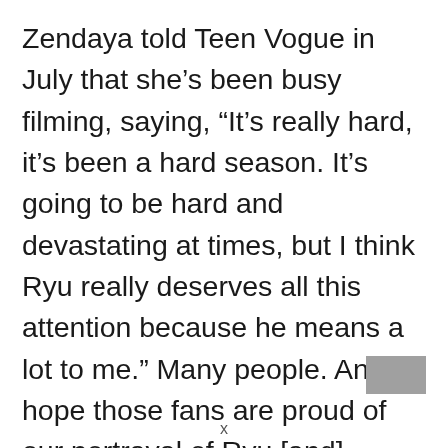Zendaya told Teen Vogue in July that she's been busy filming, saying, “It's really hard, it’s been a hard season. It’s going to be hard and devastating at times, but I think Ryu really deserves all this attention because he means a lot to me.” Many people. And I hope those fans are proud of our portrayal of Ryu [and] where the characters are going this season. However, this season is not going to be easy. I
x